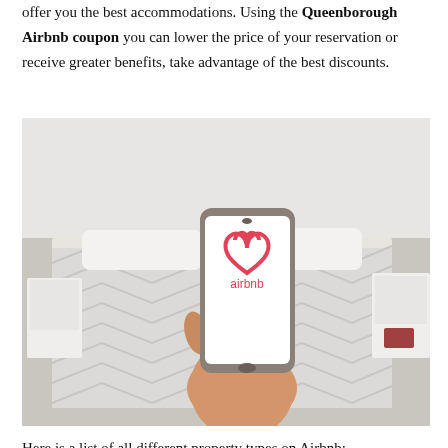offer you the best accommodations. Using the Queenborough Airbnb coupon you can lower the price of your reservation or receive greater benefits, take advantage of the best discounts.
[Figure (photo): A hand holding a smartphone displaying the Airbnb logo (pink heart-shaped icon and 'airbnb' text), with a blurred bedroom background featuring a bed with chevron-patterned bedding and white nightstands.]
Here is a list of all different property types on Airbnb: